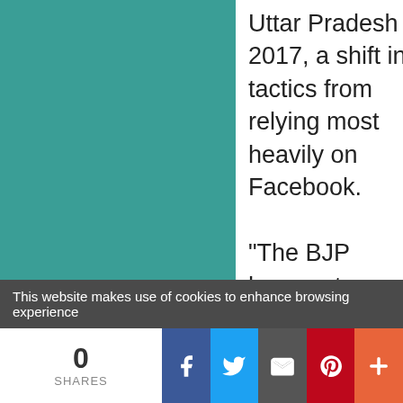Uttar Pradesh 2017, a shift in tactics from relying most heavily on Facebook.

“The BJP have not criticized any of the groups using WhatsApp. Rather, they have targeted and criticized WhatsApp. The chutzpah is
This website makes use of cookies to enhance browsing experience
0 SHARES